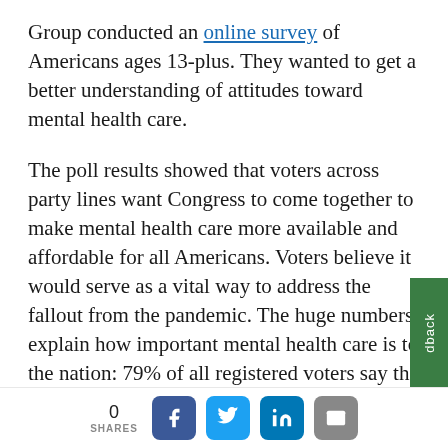Group conducted an online survey of Americans ages 13-plus. They wanted to get a better understanding of attitudes toward mental health care.
The poll results showed that voters across party lines want Congress to come together to make mental health care more available and affordable for all Americans. Voters believe it would serve as a vital way to address the fallout from the pandemic. The huge numbers explain how important mental health care is to the nation: 79% of all registered voters say the pandemic has affected their mental health,
0 SHARES